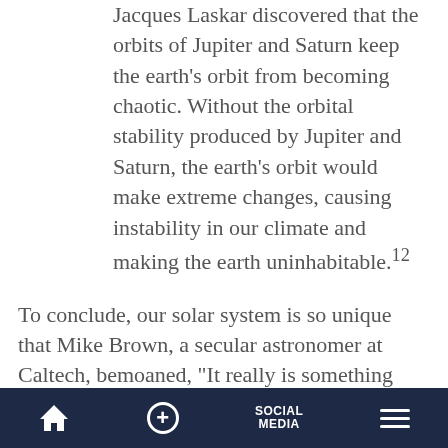Jacques Laskar discovered that the orbits of Jupiter and Saturn keep the earth's orbit from becoming chaotic. Without the orbital stability produced by Jupiter and Saturn, the earth's orbit would make extreme changes, causing instability in our climate and making the earth uninhabitable.12
To conclude, our solar system is so unique that Mike Brown, a secular astronomer at Caltech, bemoaned, “It really is something that I find deeply weird....What does it all mean? I don’t know.”13
[navigation bar: Home | + | SOCIAL MEDIA | Menu]